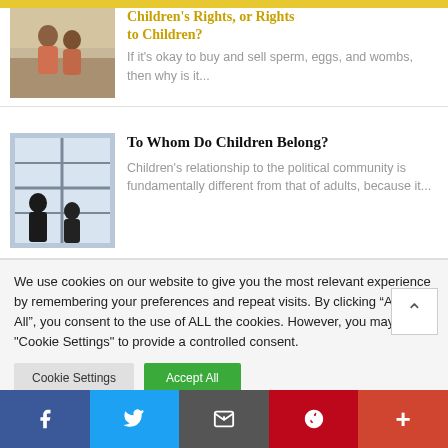[Figure (photo): Two children sitting together outdoors, partially visible at top of page]
Children's Rights, or Rights to Children?
If it's okay to buy and sell sperm, eggs, and wombs, then why is it...
[Figure (photo): Silhouette of two children standing at a large window looking outside]
To Whom Do Children Belong?
Children's relationship to the political community is fundamentally different from that of adults, because it...
We use cookies on our website to give you the most relevant experience by remembering your preferences and repeat visits. By clicking “Accept All”, you consent to the use of ALL the cookies. However, you may visit "Cookie Settings" to provide a controlled consent.
Facebook  Twitter  Email  Pinterest  More